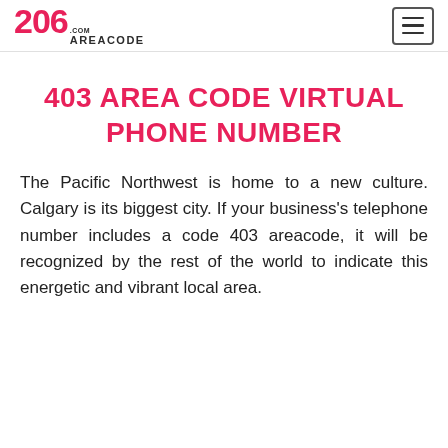206 AREACODE.com
403 AREA CODE VIRTUAL PHONE NUMBER
The Pacific Northwest is home to a new culture. Calgary is its biggest city. If your business's telephone number includes a code 403 areacode, it will be recognized by the rest of the world to indicate this energetic and vibrant local area.